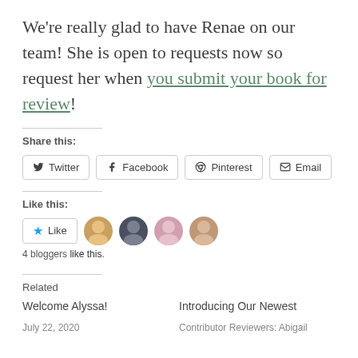We're really glad to have Renae on our team! She is open to requests now so request her when you submit your book for review!
Share this:
[Figure (other): Social share buttons: Twitter, Facebook, Pinterest, Email]
Like this:
[Figure (other): Like button with star icon and 4 blogger avatar thumbnails]
4 bloggers like this.
Related
Welcome Alyssa!
July 22, 2020
Introducing Our Newest Contributor Reviewers: Abigail